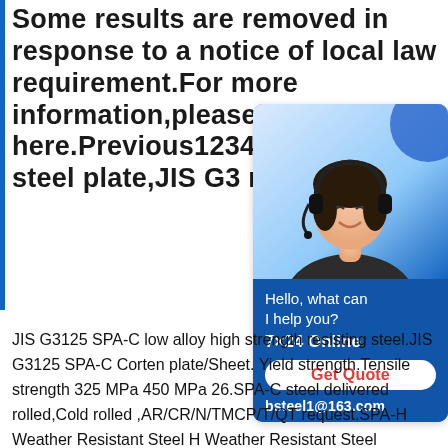Some results are removed in response to a notice of local law requirement.For more information,please see here.Previous123456Next SPA-C steel plate,JIS G3 rolled
[Figure (photo): Customer service representative wearing headset smiling, with blue background. Sidebar widget with text: Hello, what can I help you? 7×24 Online, Get Quote button, bsteel1@163.com email.]
JIS G3125 SPA-C low alloy high strength resisting steel.JIS G3125 SPA-C Corten plate/Sheet. Yield strength.Tensile strength 325 MPa 450 MPa 26.SPA-C steel delivered rolled,Cold rolled ,AR/CR/N/TMCP/T/QT request.SPA-H Weather Resistant Steel H Weather Resistant Steel Plate.Spa-h Spa-c Weather Resistant Steel Plate ,Find Complete Details about Spa-h Spa-c Weather Resistant Steel Plate,Spa-h Spa-c Weather Resistant Steel Plate,Weather Resistant Steel Plate,Find spa-h weather resistant corten steel fence here with GNEE which is one of the leading